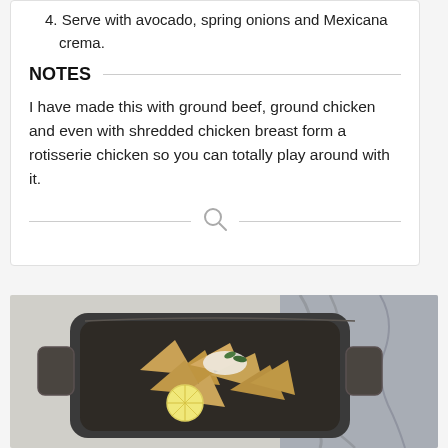4. Serve with avocado, spring onions and Mexicana crema.
NOTES
I have made this with ground beef, ground chicken and even with shredded chicken breast form a rotisserie chicken so you can totally play around with it.
[Figure (photo): Overhead photo of a dark pan/skillet containing nachos or tortilla chips with a lemon/lime slice, garnished with green herbs, set on a light grey surface with a grey linen cloth in the background.]